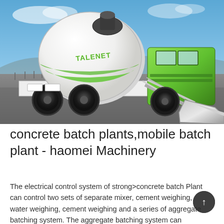[Figure (photo): A green and white self-loading concrete mixer truck (TALENET brand) parked on a road with an open blue sky background. The machine has a large white rotating drum with green stripes and TALENET branding, a green cab, front-mounted loading bucket/scoop arm, and large black tires.]
concrete batch plants,mobile batch plant - haomei Machinery
The electrical control system of strong>concrete batch Plant can control two sets of separate mixer, cement weighing, water weighing, ceme weighing and a series of aggregate batching system. The aggregat batching system can automatic control the batching process, connected